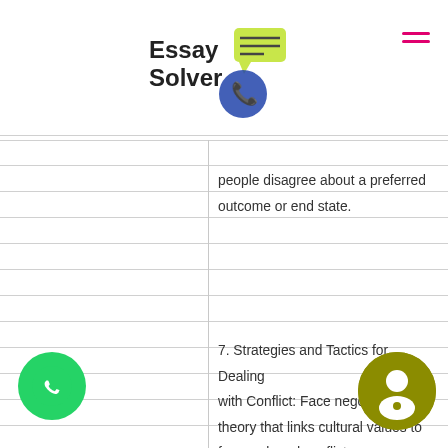[Figure (logo): Essay Solver logo with phone and chat bubble icon]
people disagree about a preferred outcome or end state.
7. Strategies and Tactics for Dealing with Conflict: Face negotiation is a theory that links cultural values to facework and conflict styles. Facework refers to specific communication strategies we use to “save” our own or someone else’s face and is a universal concept how we “do” facework varies cultures and influences conflict